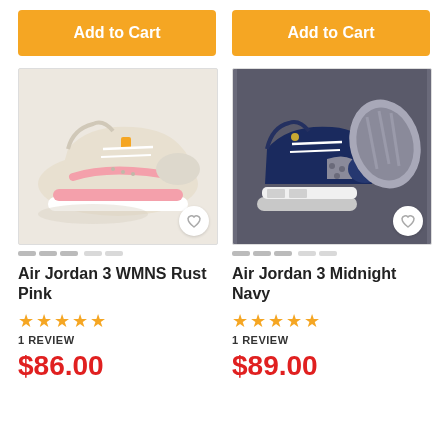Add to Cart
[Figure (photo): Air Jordan 3 WMNS Rust Pink sneaker product photo showing beige/cream and pink colorway]
Air Jordan 3 WMNS Rust Pink
★★★★★
1 REVIEW
$86.00
Add to Cart
[Figure (photo): Air Jordan 3 Midnight Navy sneaker product photo showing navy blue and grey colorway]
Air Jordan 3 Midnight Navy
★★★★★
1 REVIEW
$89.00